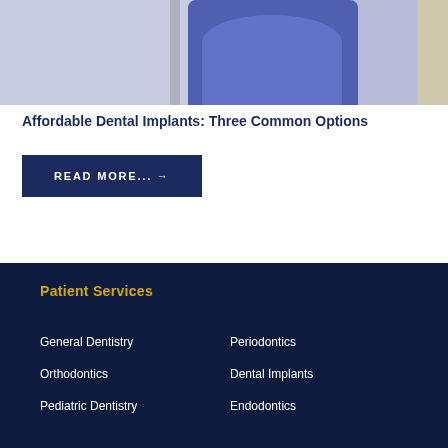[Figure (photo): Person wearing a blue cable-knit sweater seated in a dental office or home setting]
Affordable Dental Implants: Three Common Options
READ MORE... →
Patient Services
General Dentistry
Periodontics
Orthodontics
Dental Implants
Pediatric Dentistry
Endodontics